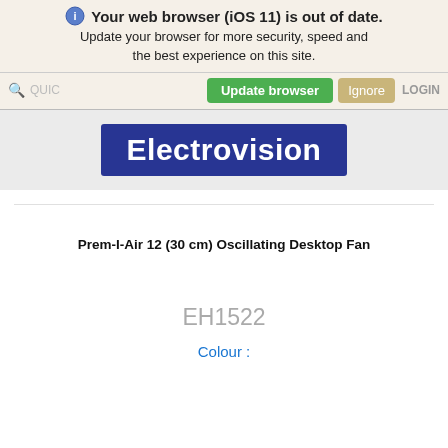Your web browser (iOS 11) is out of date. Update your browser for more security, speed and the best experience on this site.
QUICK SEARCH | Update browser | Ignore | LOGIN
[Figure (logo): Electrovision logo — white bold text on dark blue rectangle]
Prem-I-Air 12 (30 cm) Oscillating Desktop Fan
EH1522
Colour :